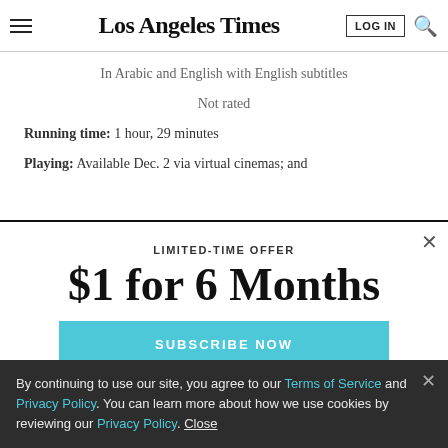Los Angeles Times
In Arabic and English with English subtitles
Not rated
Running time: 1 hour, 29 minutes
Playing: Available Dec. 2 via virtual cinemas; and
LIMITED-TIME OFFER
$1 for 6 Months
SUBSCRIBE NOW
By continuing to use our site, you agree to our Terms of Service and Privacy Policy. You can learn more about how we use cookies by reviewing our Privacy Policy. Close